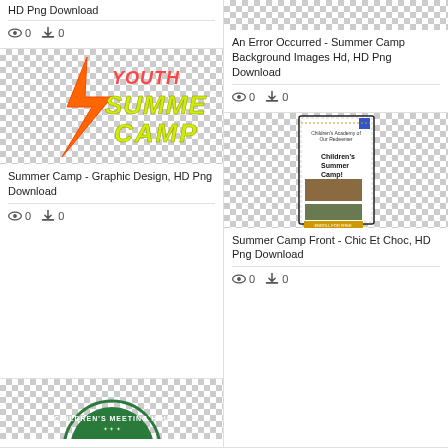HD Png Download
0   0
[Figure (illustration): Youth Summer Camp graphic with lightning bolt and green/red text on checkered background]
Summer Camp - Graphic Design, HD Png Download
0   0
[Figure (illustration): Children's Meeting House circular logo on checkered background]
[Figure (illustration): An error occurred image placeholder on checkered background]
An Error Occurred - Summer Camp Background Images Hd, HD Png Download
0   0
[Figure (illustration): Children's Summer Camp front brochure panel with photos on checkered background]
Summer Camp Front - Chic Et Choc, HD Png Download
0   0